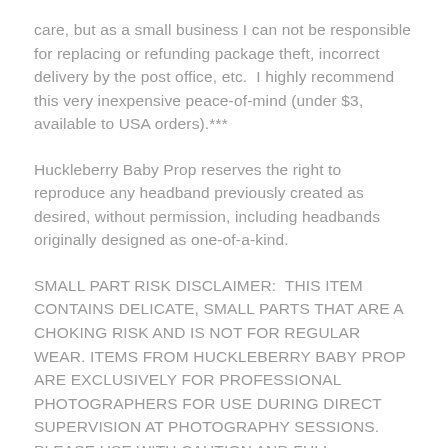care, but as a small business I can not be responsible for replacing or refunding package theft, incorrect delivery by the post office, etc.  I highly recommend this very inexpensive peace-of-mind (under $3, available to USA orders).***
Huckleberry Baby Prop reserves the right to reproduce any headband previously created as desired, without permission, including headbands originally designed as one-of-a-kind.
SMALL PART RISK DISCLAIMER:  THIS ITEM CONTAINS DELICATE, SMALL PARTS THAT ARE A CHOKING RISK AND IS NOT FOR REGULAR WEAR.  ITEMS FROM HUCKLEBERRY BABY PROP ARE EXCLUSIVELY FOR PROFESSIONAL PHOTOGRAPHERS FOR USE DURING DIRECT SUPERVISION AT PHOTOGRAPHY SESSIONS.  PLEASE USE WITH CAUTION AND FULL, UNDIVIDED ATTENTION.  INJURY OR DEATH CAN OCCUR.  HUCKLEBERRY BABY